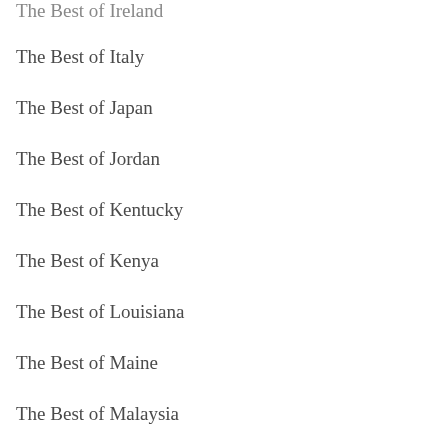The Best of Ireland
The Best of Italy
The Best of Japan
The Best of Jordan
The Best of Kentucky
The Best of Kenya
The Best of Louisiana
The Best of Maine
The Best of Malaysia